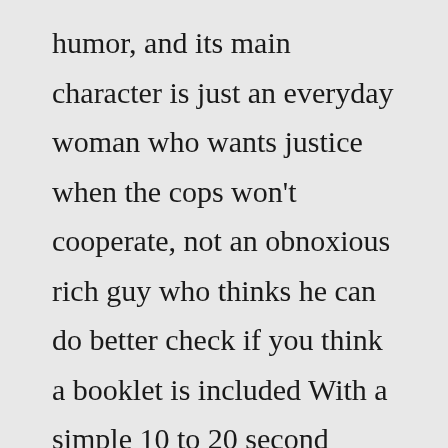humor, and its main character is just an everyday woman who wants justice when the cops won't cooperate, not an obnoxious rich guy who thinks he can do better check if you think a booklet is included With a simple 10 to 20 second wave of this wand you can sterilize your everyday objects to get rid of harmful bacteria Ultraviolet Ultraviolet Review Shot with HD cameras, the film looks bizarre, as if the entire